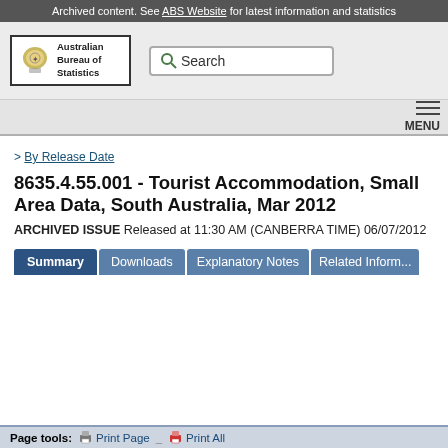Archived content. See ABS Website for latest information and statistics
[Figure (logo): Australian Bureau of Statistics logo with coat of arms crest and text 'Australian Bureau of Statistics' in a bordered box]
Search
MENU
> By Release Date
8635.4.55.001 - Tourist Accommodation, Small Area Data, South Australia, Mar 2012
ARCHIVED ISSUE Released at 11:30 AM (CANBERRA TIME) 06/07/2012
Summary
Downloads
Explanatory Notes
Related Inform...
Page tools:  Print Page   Print All